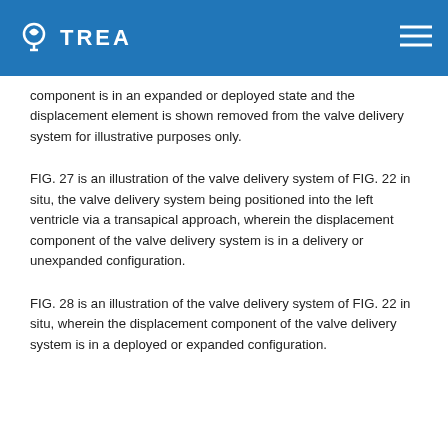TREA
component is in an expanded or deployed state and the displacement element is shown removed from the valve delivery system for illustrative purposes only.
FIG. 27 is an illustration of the valve delivery system of FIG. 22 in situ, the valve delivery system being positioned into the left ventricle via a transapical approach, wherein the displacement component of the valve delivery system is in a delivery or unexpanded configuration.
FIG. 28 is an illustration of the valve delivery system of FIG. 22 in situ, wherein the displacement component of the valve delivery system is in a deployed or expanded configuration.